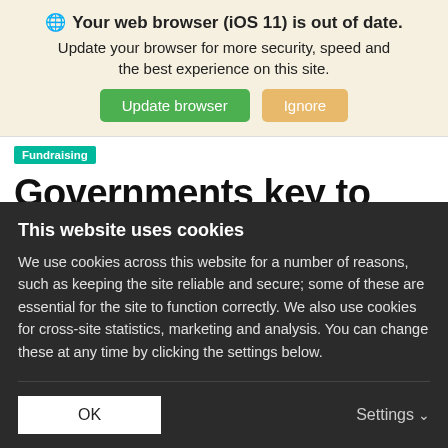Your web browser (iOS 11) is out of date. Update your browser for more security, speed and the best experience on this site.
Fundraising
Governments key to unlocking pension investment in infra
This website uses cookies
We use cookies across this website for a number of reasons, such as keeping the site reliable and secure; some of these are essential for the site to function correctly. We also use cookies for cross-site statistics, marketing and analysis. You can change these at any time by clicking the settings below.